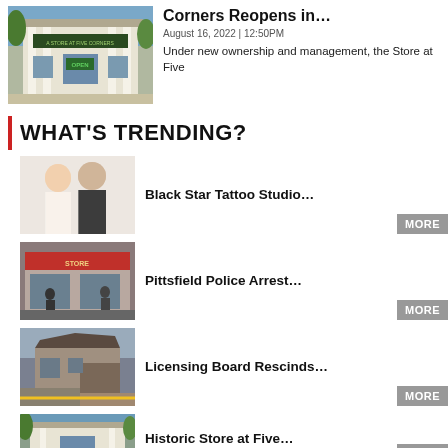[Figure (photo): Photo of a white storefront building with columns, sign reading 'A Store at Five Corners', with an Open sign visible]
Corners Reopens in…
August 16, 2022 | 12:50PM
Under new ownership and management, the Store at Five
WHAT'S TRENDING?
[Figure (photo): Photo of two people, a woman and a man in a black shirt, standing together indoors]
Black Star Tattoo Studio…
[Figure (photo): Photo of a storefront with people standing outside, sign partially visible]
Pittsfield Police Arrest…
[Figure (photo): Photo of a damaged or demolished building structure]
Licensing Board Rescinds…
[Figure (photo): Photo of a historic white storefront building]
Historic Store at Five…